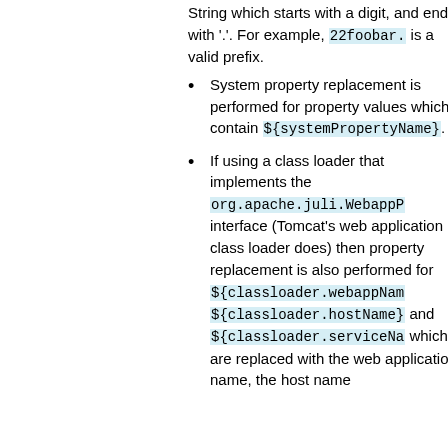String which starts with a digit, and ends with '.'. For example, 22foobar. is a valid prefix.
System property replacement is performed for property values which contain ${systemPropertyName}.
If using a class loader that implements the org.apache.juli.WebappR interface (Tomcat's web application class loader does) then property replacement is also performed for ${classloader.webappName} ${classloader.hostName} and ${classloader.serviceNa which are replaced with the web application name, the host name